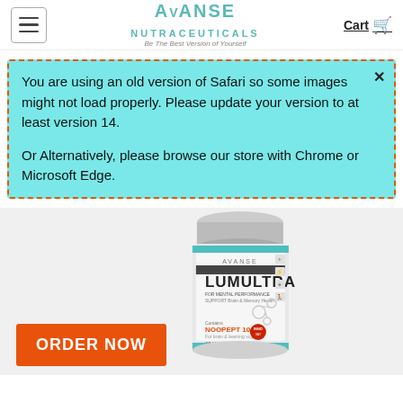AVANSE NUTRACEUTICALS — Be The Best Version of Yourself | Cart
You are using an old version of Safari so some images might not load properly. Please update your version to at least version 14.

Or Alternatively, please browse our store with Chrome or Microsoft Edge.
[Figure (photo): Product bottle of LUMULTRA by Avanse Nutraceuticals, a supplement for mental performance, showing a white cylindrical container with a teal label.]
ORDER NOW